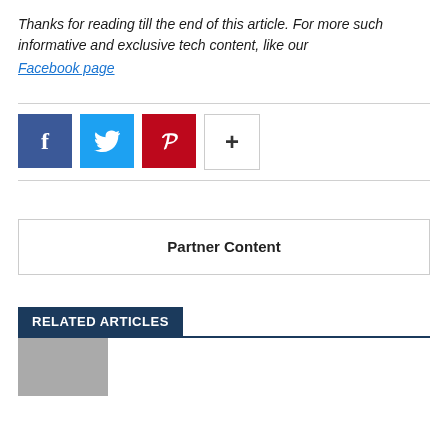Thanks for reading till the end of this article. For more such informative and exclusive tech content, like our Facebook page
[Figure (infographic): Row of four social sharing buttons: Facebook (dark blue), Twitter (light blue), Pinterest (red), and a '+' more button (white with border)]
Partner Content
RELATED ARTICLES
[Figure (photo): Partial thumbnail image at bottom of page]